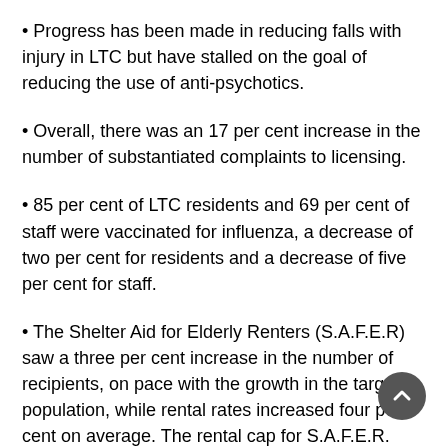Progress has been made in reducing falls with injury in LTC but have stalled on the goal of reducing the use of anti-psychotics.
Overall, there was an 17 per cent increase in the number of substantiated complaints to licensing.
85 per cent of LTC residents and 69 per cent of staff were vaccinated for influenza, a decrease of two per cent for residents and a decrease of five per cent for staff.
The Shelter Aid for Elderly Renters (S.A.F.E.R) saw a three per cent increase in the number of recipients, on pace with the growth in the target population, while rental rates increased four per cent on average. The rental cap for S.A.F.E.R. remained unchanged.